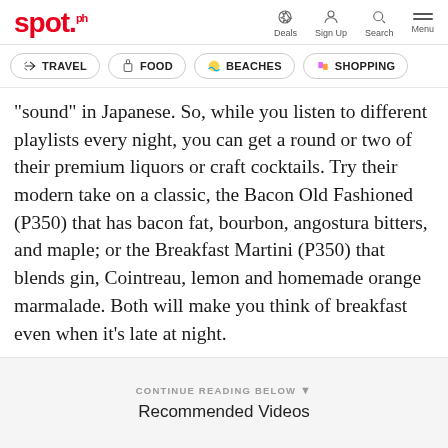spot. | Deals | Sign Up | Search | Menu
TRAVEL | FOOD | BEACHES | SHOPPING
“sound” in Japanese. So, while you listen to different playlists every night, you can get a round or two of their premium liquors or craft cocktails. Try their modern take on a classic, the Bacon Old Fashioned (P350) that has bacon fat, bourbon, angostura bitters, and maple; or the Breakfast Martini (P350) that blends gin, Cointreau, lemon and homemade orange marmalade. Both will make you think of breakfast even when it’s late at night.
CONTINUE READING BELOW
Recommended Videos